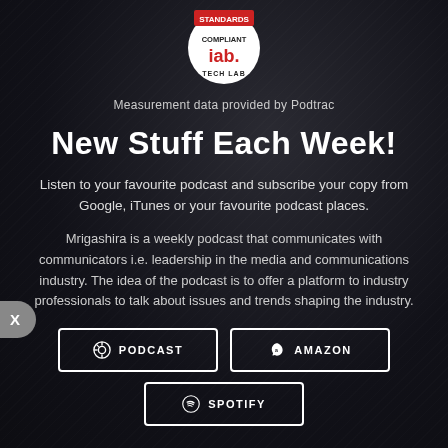[Figure (logo): IAB Tech Lab Standards Compliant badge — circular white logo with red banner reading STANDARDS COMPLIANT and iab. TECH LAB text]
Measurement data provided by Podtrac
New Stuff Each Week!
Listen to your favourite podcast and subscribe your copy from Google, iTunes or your favourite podcast places.
Mrigashira is a weekly podcast that communicates with communicators i.e. leadership in the media and communications industry. The idea of the podcast is to offer a platform to industry professionals to talk about issues and trends shaping the industry.
[Figure (other): PODCAST button with podcast icon]
[Figure (other): AMAZON button with Amazon icon]
[Figure (other): SPOTIFY button with Spotify icon]